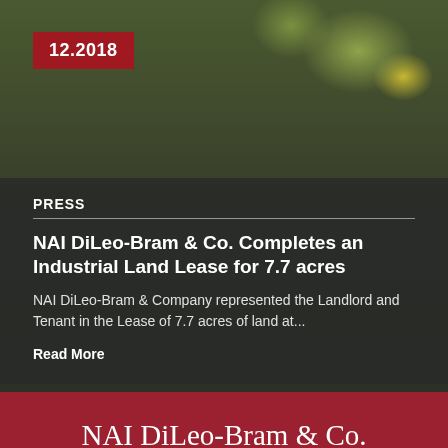[Figure (photo): Outdoor photo of a commercial property with trees in the background, used as the background of the first press card]
12.2018
PRESS
NAI DiLeo-Bram & Co. Completes an Industrial Land Lease for 7.7 acres
NAI DiLeo-Bram & Company represented the Landlord and Tenant in the Lease of 7.7 acres of land at...
Read More
NAI DiLeo-Bram & Co. completes office lease of over 9,000 sf
[Figure (photo): Photo of a modern commercial building with blue sky background]
12.2018
PRESS
NAI DiLeo-Bram & Co. Completes Office Lease...